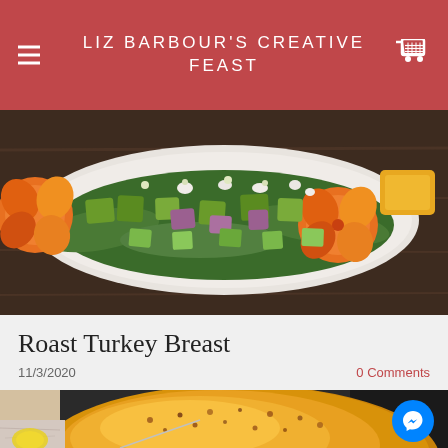LIZ BARBOUR'S CREATIVE FEAST
[Figure (photo): Overhead photo of a salad platter with diced avocado, red onion, cucumber, greens, white cheese crumbles, and bright orange nasturtium flowers on a dark wooden surface]
Roast Turkey Breast
11/3/2020
0 Comments
[Figure (photo): Close-up photo of a roast turkey breast with golden-brown seasoned skin, shown on a roasting pan with a meat thermometer inserted, lemon visible in background]